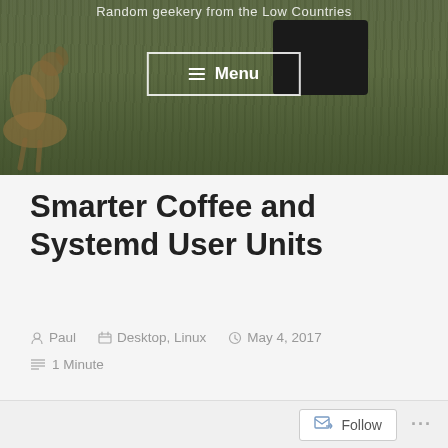[Figure (photo): Blog header photo showing a grassy field with a dog on the left and a dark equipment box on the right. Subtitle text 'Random geekery from the Low Countries' overlaid at the top, and a Menu button in the center.]
Smarter Coffee and Systemd User Units
Paul  Desktop, Linux  May 4, 2017  1 Minute
Follow  ...